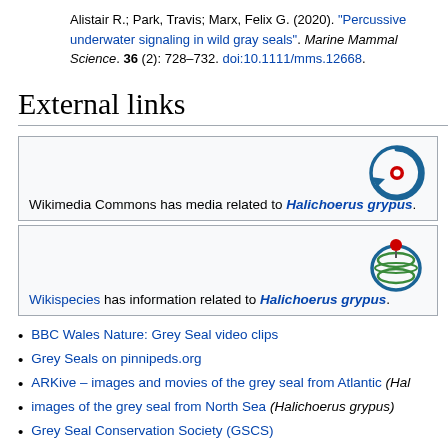Alistair R.; Park, Travis; Marx, Felix G. (2020). "Percussive underwater signaling in wild gray seals". Marine Mammal Science. 36 (2): 728–732. doi:10.1111/mms.12668.
External links
[Figure (logo): Wikimedia Commons logo — blue circular arrow with red dot center]
Wikimedia Commons has media related to Halichoerus grypus.
[Figure (logo): Wikispecies logo — green circular design with red dot]
Wikispecies has information related to Halichoerus grypus.
BBC Wales Nature: Grey Seal video clips
Grey Seals on pinnipeds.org
ARKive – images and movies of the grey seal from Atlantic (Hal…
images of the grey seal from North Sea (Halichoerus grypus)
Grey Seal Conservation Society (GSCS)
The first filming of the grey seal in Eastern Crimea, Ukraine